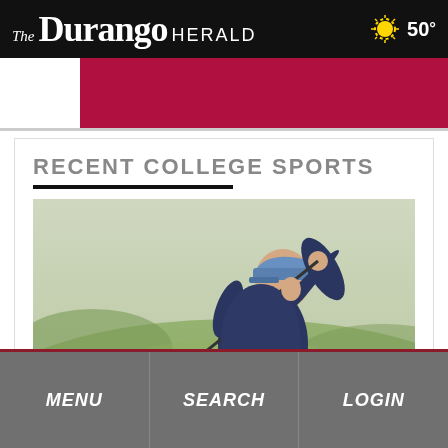THE Durango HERALD  50°
[Figure (other): Red/crimson advertisement banner]
RECENT COLLEGE SPORTS
[Figure (photo): College golfer in navy blue long-sleeve shirt and blue cap mid-swing follow-through, holding a golf club, green grass background]
MENU   SEARCH   LOGIN